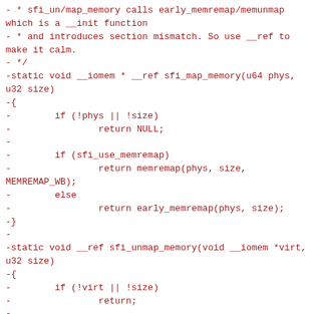- * sfi_un/map_memory calls early_memremap/memunmap which is a __init function
- * and introduces section mismatch. So use __ref to make it calm.
- */
-static void __iomem * __ref sfi_map_memory(u64 phys, u32 size)
-{
-        if (!phys || !size)
-                return NULL;
-
-        if (sfi_use_memremap)
-                return memremap(phys, size,
MEMREMAP_WB);
-        else
-                return early_memremap(phys, size);
-}
-
-static void __ref sfi_unmap_memory(void __iomem *virt, u32 size)
-{
-        if (!virt || !size)
-                return;
-
-        if (sfi_use_memremap)
-                memunmap(virt);
-        else
-                early_memunmap(virt, size);
-}
-